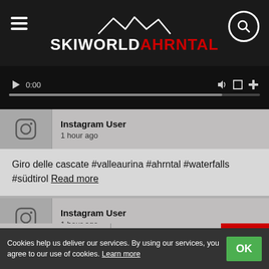SKIWORLD AHRNTAL
[Figure (screenshot): Video player controls bar showing 0:00 timestamp and progress bar]
Instagram User
1 hour ago
Giro delle cascate #valleaurina #ahrntal #waterfalls #südtirol Read more
Instagram User
1 hour ago
Natur pur 🌿
Cookies help us deliver our services. By using our services, you agree to our use of cookies. Learn more